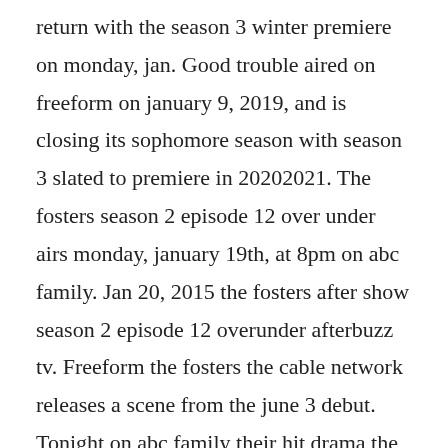return with the season 3 winter premiere on monday, jan. Good trouble aired on freeform on january 9, 2019, and is closing its sophomore season with season 3 slated to premiere in 20202021. The fosters season 2 episode 12 over under airs monday, january 19th, at 8pm on abc family. Jan 20, 2015 the fosters after show season 2 episode 12 overunder afterbuzz tv. Freeform the fosters the cable network releases a scene from the june 3 debut. Tonight on abc family their hit drama the fosters returns with an all new monday february 1, season 3 episode 12